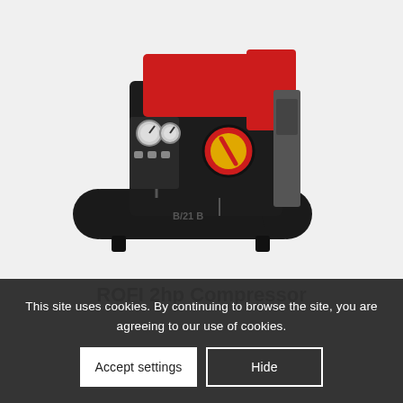[Figure (photo): Product photo of a ROFI 2hp air compressor. The compressor has a black body with a red top panel, two pressure gauges and fittings on the front left, a circular red and yellow logo/dial on the front center, a horizontal cylindrical black air tank at the base with feet, and various hose connections. The unit is photographed at a slight angle against a white/grey background.]
ROFI 2hp Compressor
This site uses cookies. By continuing to browse the site, you are agreeing to our use of cookies.
Accept settings
Hide